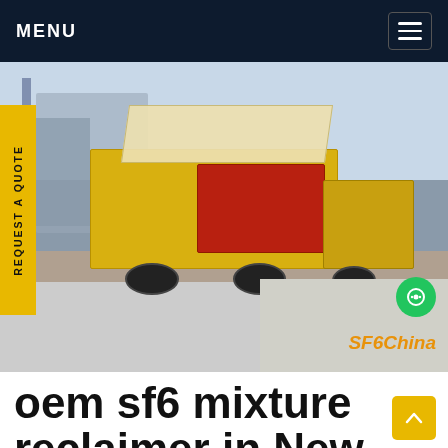MENU
[Figure (photo): A yellow SF6 gas service truck parked at an electrical substation. The truck has a red equipment unit mounted on its flatbed and an open canopy/awning. Power transformers and towers are visible in the background. Watermark reads SF6China.]
oem sf6 mixture reclaimer in New